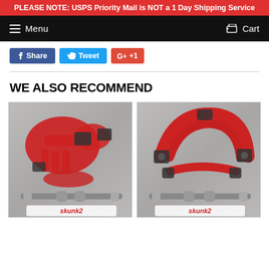PLEASE NOTE: USPS Priority Mail is NOT a 1 Day Shipping Service
Menu   Cart
Share  Tweet  +1
WE ALSO RECOMMEND
[Figure (photo): Red Skunk2 rear upper control arms / camber kit parts on a metal surface, with adjustment hardware below]
[Figure (photo): Red Skunk2 front upper control arms on a metal surface, with adjustment hardware below]